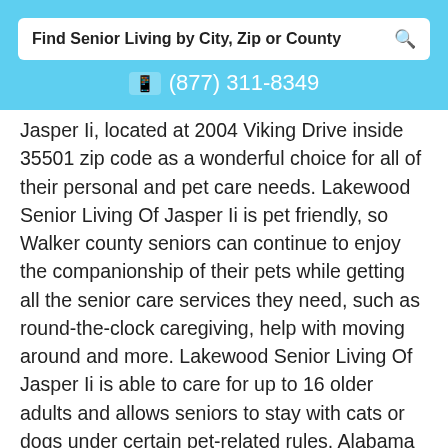Find Senior Living by City, Zip or County
(877) 311-8349
Jasper Ii, located at 2004 Viking Drive inside 35501 zip code as a wonderful choice for all of their personal and pet care needs. Lakewood Senior Living Of Jasper Ii is pet friendly, so Walker county seniors can continue to enjoy the companionship of their pets while getting all the senior care services they need, such as round-the-clock caregiving, help with moving around and more. Lakewood Senior Living Of Jasper Ii is able to care for up to 16 older adults and allows seniors to stay with cats or dogs under certain pet-related rules. Alabama records indicate D6409 license number for Lakewood Senior Living Of Jasper Ii.